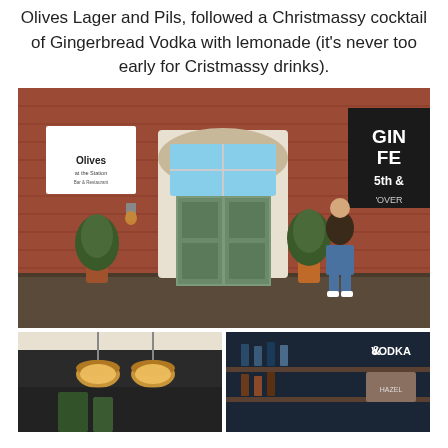Olives Lager and Pils, followed a Christmassy cocktail of Gingerbread Vodka with lemonade (it's never too early for Cristmassy drinks).
[Figure (photo): Exterior of Olives at the Station Bar & Restaurant, a red brick building with sage green double doors, a fanlight window above, two olive trees in terracotta pots, hanging lanterns, and a man standing to the right side. A sign for GIN FE 5th & is partially visible on the right.]
[Figure (photo): Interior shot showing two gold pendant lights hanging from ceiling with green bottles visible below.]
[Figure (photo): Interior shot showing a bar area with VODKA sign visible and various bottles on shelves, dark navy decor.]